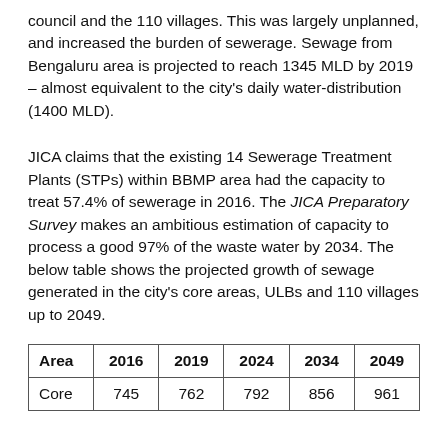council and the 110 villages. This was largely unplanned, and increased the burden of sewerage. Sewage from Bengaluru area is projected to reach 1345 MLD by 2019 – almost equivalent to the city's daily water-distribution (1400 MLD).
JICA claims that the existing 14 Sewerage Treatment Plants (STPs) within BBMP area had the capacity to treat 57.4% of sewerage in 2016. The JICA Preparatory Survey makes an ambitious estimation of capacity to process a good 97% of the waste water by 2034. The below table shows the projected growth of sewage generated in the city's core areas, ULBs and 110 villages up to 2049.
| Area | 2016 | 2019 | 2024 | 2034 | 2049 |
| --- | --- | --- | --- | --- | --- |
| Core | 745 | 762 | 792 | 856 | 961 |